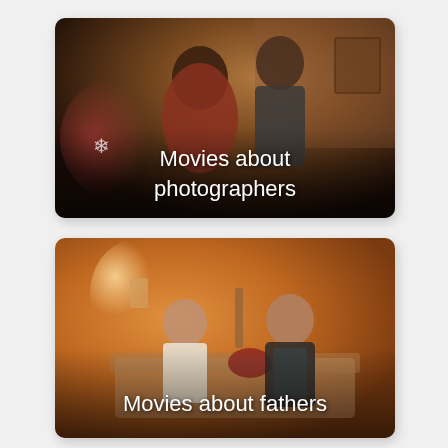[Figure (photo): Movie thumbnail showing a couple at a party in front of a brick wall with decorations, text overlay reads 'Movies about photographers']
[Figure (photo): Movie thumbnail showing two men sitting on a bed in an orange-lit room, text overlay reads 'Movies about fathers']